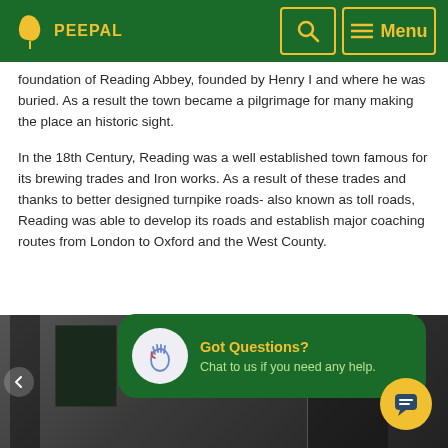PEEPAL — Menu
foundation of Reading Abbey, founded by Henry I and where he was buried. As a result the town became a pilgrimage for many making the place an historic sight.
In the 18th Century, Reading was a well established town famous for its brewing trades and Iron works. As a result of these trades and thanks to better designed turnpike roads- also known as toll roads, Reading was able to develop its roads and establish major coaching routes from London to Oxford and the West County.
[Figure (screenshot): Chat widget with 'Got Questions? Chat to us if you need any help.' on dark green rounded rectangle with waving hand icon]
[Figure (photo): Bottom portion of an interior space or bus/coach interior photograph, partially visible, with a yellow chat bubble button in the lower right corner]